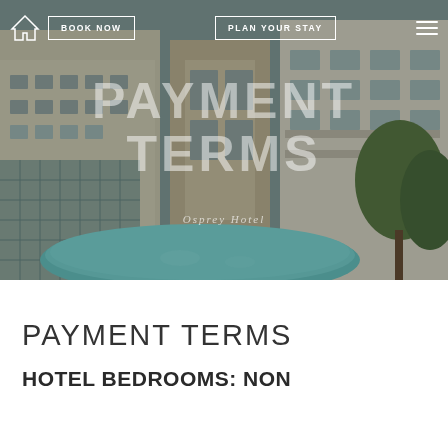[Figure (photo): Aerial/elevated view of the Osprey Hotel exterior showing modern building facade with balconies, a curved turquoise swimming pool or water feature in the foreground, and lush greenery/trees to the right. Navigation bar overlaid with home icon, BOOK NOW button, PLAN YOUR STAY button, and hamburger menu.]
PAYMENT TERMS
HOTEL BEDROOMS: NON